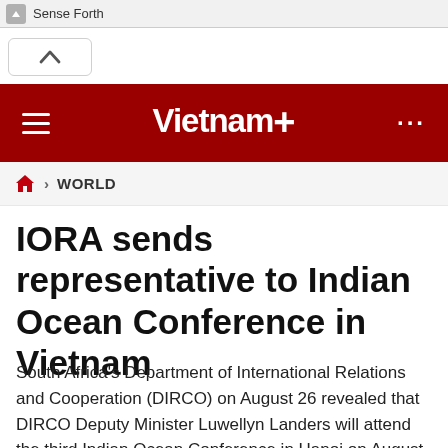Sense Forth
[Figure (screenshot): Browser collapse/chevron UI bar with up arrow button]
Vietnam+
WORLD
IORA sends representative to Indian Ocean Conference in Vietnam
South Africa's Department of International Relations and Cooperation (DIRCO) on August 26 revealed that DIRCO Deputy Minister Luwellyn Landers will attend the third Indian Ocean Conference in Hanoi on August 27-28.